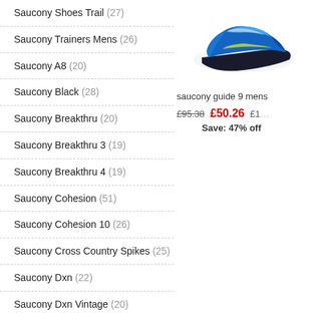Saucony Shoes Trail (27)
Saucony Trainers Mens (26)
Saucony A8 (20)
Saucony Black (28)
Saucony Breakthru (20)
Saucony Breakthru 3 (19)
Saucony Breakthru 4 (19)
Saucony Cohesion (51)
Saucony Cohesion 10 (26)
Saucony Cross Country Spikes (25)
Saucony Dxn (22)
Saucony Dxn Vintage (20)
Saucony Echelon 6 (25)
Saucony Everun (10)
Saucony Excursion (23)
Saucony Fastwitch 8 (18)
[Figure (photo): Blue Saucony running shoe, viewed from above/side angle]
saucony guide 9 mens
£95.38  £50.26  £1...
Save: 47% off